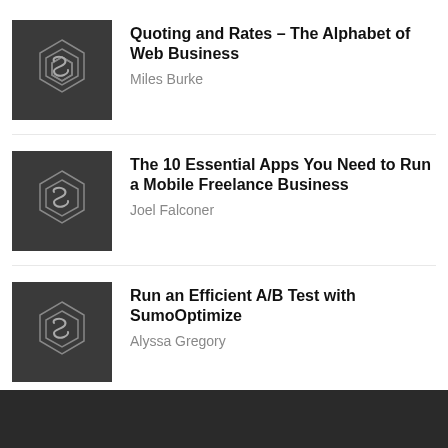Quoting and Rates – The Alphabet of Web Business
Miles Burke
The 10 Essential Apps You Need to Run a Mobile Freelance Business
Joel Falconer
Run an Efficient A/B Test with SumoOptimize
Alyssa Gregory